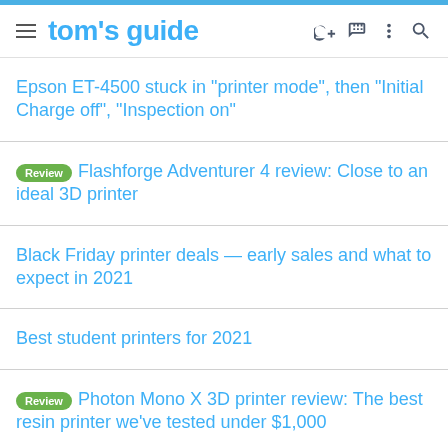tom's guide
Epson ET-4500 stuck in "printer mode", then "Initial Charge off", "Inspection on"
Review  Flashforge Adventurer 4 review: Close to an ideal 3D printer
Black Friday printer deals — early sales and what to expect in 2021
Best student printers for 2021
Review  Photon Mono X 3D printer review: The best resin printer we've tested under $1,000